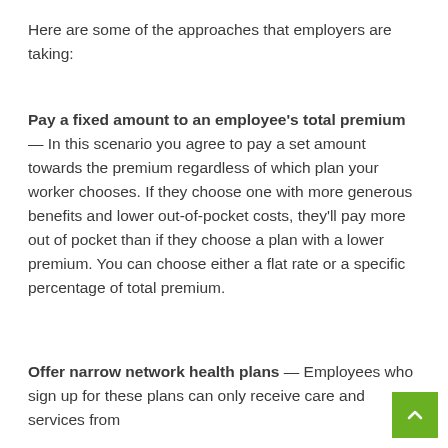Here are some of the approaches that employers are taking:
Pay a fixed amount to an employee’s total premium — In this scenario you agree to pay a set amount towards the premium regardless of which plan your worker chooses. If they choose one with more generous benefits and lower out-of-pocket costs, they’ll pay more out of pocket than if they choose a plan with a lower premium. You can choose either a flat rate or a specific percentage of total premium.
Offer narrow network health plans — Employees who sign up for these plans can only receive care and services from